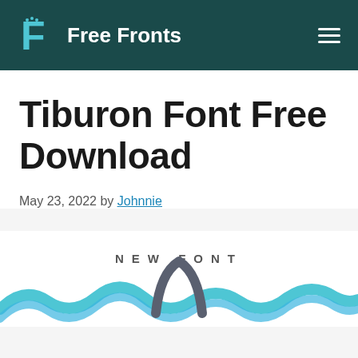Free Fronts
Tiburon Font Free Download
May 23, 2022 by Johnnie
[Figure (illustration): Tiburon font preview image showing 'NEW FONT' text label and decorative wave/shark-fin illustration in blue and grey colors]